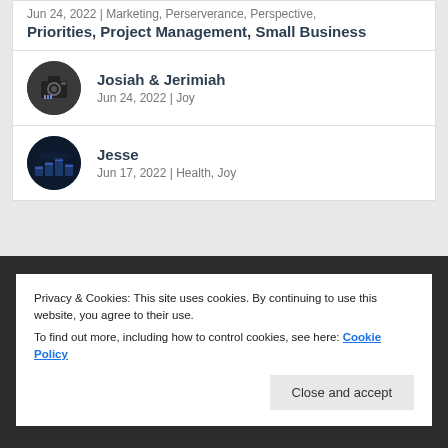Jun 24, 2022 | Marketing, Perserverance, Perspective, Priorities, Project Management, Small Business
Josiah & Jerimiah
Jun 24, 2022 | Joy
Jesse
Jun 17, 2022 | Health, Joy
Privacy & Cookies: This site uses cookies. By continuing to use this website, you agree to their use.
To find out more, including how to control cookies, see here: Cookie Policy
Close and accept